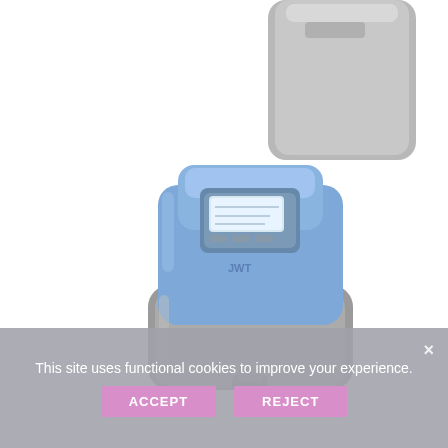[Figure (illustration): Two water softener units shown: upper portion shows a grey/beige rectangular unit (partially cropped at top), and lower section shows a complete blue-top water softener unit with grey base, featuring a digital display panel and JWT branding label.]
This site uses functional cookies to improve your experience.
ACCEPT
REJECT